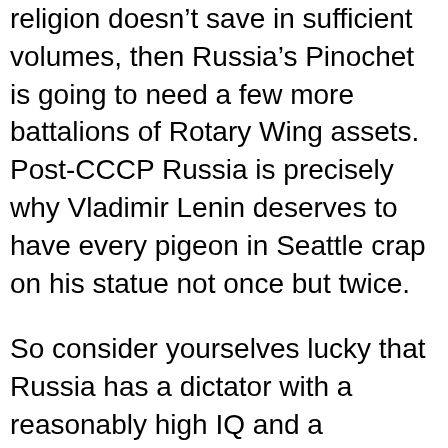religion doesn't save in sufficient volumes, then Russia's Pinochet is going to need a few more battalions of Rotary Wing assets. Post-CCCP Russia is precisely why Vladimir Lenin deserves to have every pigeon in Seattle crap on his statue not once but twice.
So consider yourselves lucky that Russia has a dictator with a reasonably high IQ and a traditionally Western European outlook on things like Time Preference. Czar Putin is what failed experiments in People Power should pray for. Amerika's uselessness will